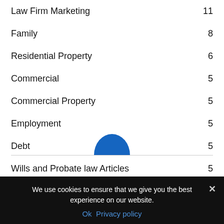Law Firm Marketing  11
Family  8
Residential Property  6
Commercial  5
Commercial Property  5
Employment  5
Debt  5
Wills and Probate law Articles  5
[Figure (illustration): Partial blue semicircle visible at bottom of content area, likely a logo or decorative element]
We use cookies to ensure that we give you the best experience on our website.
Ok   Privacy policy